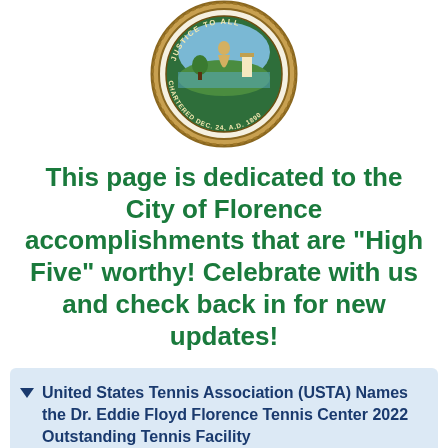[Figure (logo): City of Florence official seal — circular badge with text 'CHARTERED DEC. 24, A.D. 1890' and 'JUSTICE TO ALL', brown and green colors]
This page is dedicated to the City of Florence accomplishments that are "High Five" worthy! Celebrate with us and check back in for new updates!
United States Tennis Association (USTA) Names the Dr. Eddie Floyd Florence Tennis Center 2022 Outstanding Tennis Facility
FULL LIFE. FULL FORWARD